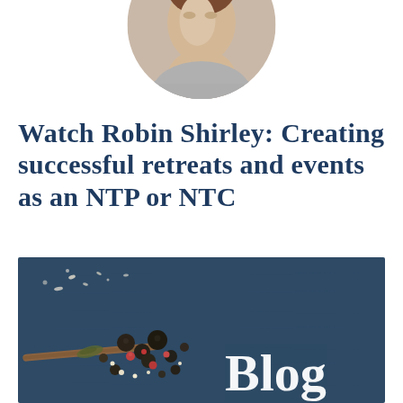[Figure (photo): Circular cropped profile photo of Robin Shirley, partially cut off at top, showing a person in grey/neutral tones]
Watch Robin Shirley: Creating successful retreats and events as an NTP or NTC
[Figure (photo): Dark navy blue background with scattered spices, peppercorns, and herbs on a linen surface. White serif text reads 'Blog' in bottom right area.]